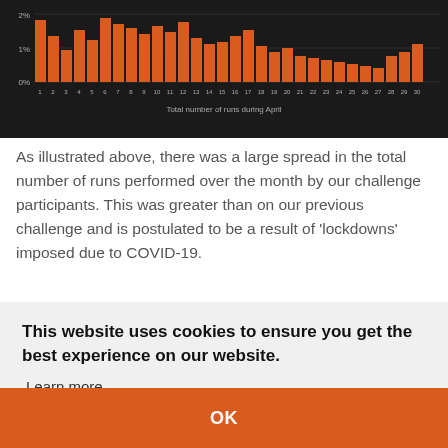[Figure (bar-chart): Bar chart on dark background showing percentage distribution of total runs per day (1-30) in April, with values around 1-2%]
As illustrated above, there was a large spread in the total number of runs performed over the month by our challenge participants. This was greater than on our previous challenge and is postulated to be a result of 'lockdowns' imposed due to COVID-19.
This website uses cookies to ensure you get the best experience on our website.
Learn more
OK